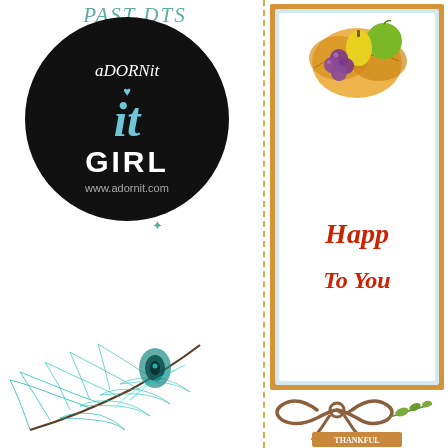PAST DTS AND AMBASSADOR SHIPS
[Figure (logo): ADORNit 'it GIRL' circular logo on black background with website www.adornit.com]
[Figure (illustration): Teal/green peacock feather illustration]
[Figure (illustration): Thanksgiving greeting card with orange border, fruit/harvest illustration, text 'Happy To You']
[Figure (illustration): Brown rope bow with olive branch decoration and stamp/label at bottom right]